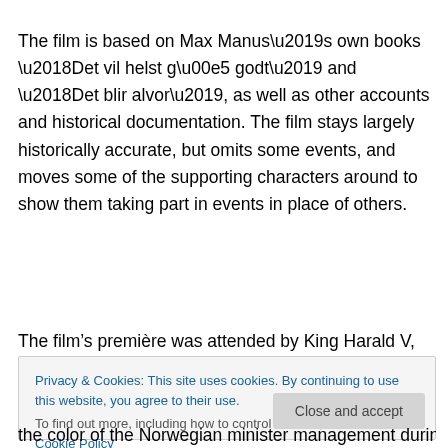The film is based on Max Manus’s own books ‘Det vil helst gå godt’ and ‘Det blir alvor’, as well as other accounts and historical documentation. The film stays largely historically accurate, but omits some events, and moves some of the supporting characters around to show them taking part in events in place of others.
The film’s première was attended by King Harald V,
Privacy & Cookies: This site uses cookies. By continuing to use this website, you agree to their use.
To find out more, including how to control cookies, see here: Cookie Policy
the color of the Norwegian minister management during the